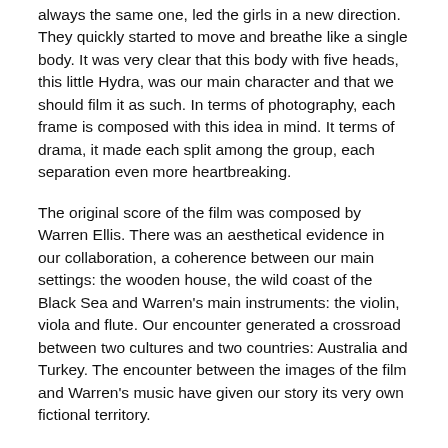always the same one, led the girls in a new direction. They quickly started to move and breathe like a single body. It was very clear that this body with five heads, this little Hydra, was our main character and that we should film it as such. In terms of photography, each frame is composed with this idea in mind. It terms of drama, it made each split among the group, each separation even more heartbreaking.
The original score of the film was composed by Warren Ellis. There was an aesthetical evidence in our collaboration, a coherence between our main settings: the wooden house, the wild coast of the Black Sea and Warren's main instruments: the violin, viola and flute. Our encounter generated a crossroad between two cultures and two countries: Australia and Turkey. The encounter between the images of the film and Warren's music have given our story its very own fictional territory.
Most of the film takes place in a single location: the house that slowly transforms into a bunker. It is an action film that takes place behind closed doors. Although the story unfolds within the domestic, familiar setting of a family's home, the style is akin to a prison-escape film. In dramatic terms, Lale's story closely resembles Frank Morris' (the hero of Escape from Alcatraz)—a hero who, right from the start, refuses anything that threatens his freedom. The entire plot is based on the